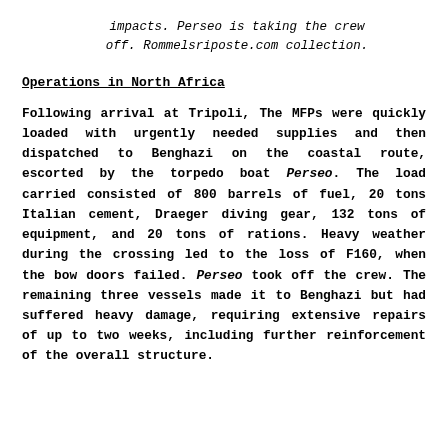impacts. Perseo is taking the crew off. Rommelsriposte.com collection.
Operations in North Africa
Following arrival at Tripoli, The MFPs were quickly loaded with urgently needed supplies and then dispatched to Benghazi on the coastal route, escorted by the torpedo boat Perseo. The load carried consisted of 800 barrels of fuel, 20 tons Italian cement, Draeger diving gear, 132 tons of equipment, and 20 tons of rations. Heavy weather during the crossing led to the loss of F160, when the bow doors failed. Perseo took off the crew. The remaining three vessels made it to Benghazi but had suffered heavy damage, requiring extensive repairs of up to two weeks, including further reinforcement of the overall structure.